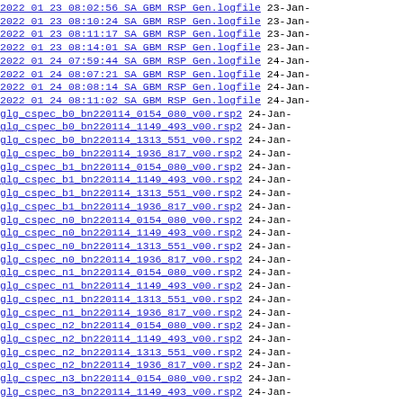2022 01 23 08:02:56 SA GBM RSP Gen.logfile 23-Jan-
2022 01 23 08:10:24 SA GBM RSP Gen.logfile 23-Jan-
2022 01 23 08:11:17 SA GBM RSP Gen.logfile 23-Jan-
2022 01 23 08:14:01 SA GBM RSP Gen.logfile 23-Jan-
2022 01 24 07:59:44 SA GBM RSP Gen.logfile 24-Jan-
2022 01 24 08:07:21 SA GBM RSP Gen.logfile 24-Jan-
2022 01 24 08:08:14 SA GBM RSP Gen.logfile 24-Jan-
2022 01 24 08:11:02 SA GBM RSP Gen.logfile 24-Jan-
glg_cspec_b0_bn220114_0154_080_v00.rsp2 24-Jan-
glg_cspec_b0_bn220114_1149_493_v00.rsp2 24-Jan-
glg_cspec_b0_bn220114_1313_551_v00.rsp2 24-Jan-
glg_cspec_b0_bn220114_1936_817_v00.rsp2 24-Jan-
glg_cspec_b1_bn220114_0154_080_v00.rsp2 24-Jan-
glg_cspec_b1_bn220114_1149_493_v00.rsp2 24-Jan-
glg_cspec_b1_bn220114_1313_551_v00.rsp2 24-Jan-
glg_cspec_b1_bn220114_1936_817_v00.rsp2 24-Jan-
glg_cspec_n0_bn220114_0154_080_v00.rsp2 24-Jan-
glg_cspec_n0_bn220114_1149_493_v00.rsp2 24-Jan-
glg_cspec_n0_bn220114_1313_551_v00.rsp2 24-Jan-
glg_cspec_n0_bn220114_1936_817_v00.rsp2 24-Jan-
glg_cspec_n1_bn220114_0154_080_v00.rsp2 24-Jan-
glg_cspec_n1_bn220114_1149_493_v00.rsp2 24-Jan-
glg_cspec_n1_bn220114_1313_551_v00.rsp2 24-Jan-
glg_cspec_n1_bn220114_1936_817_v00.rsp2 24-Jan-
glg_cspec_n2_bn220114_0154_080_v00.rsp2 24-Jan-
glg_cspec_n2_bn220114_1149_493_v00.rsp2 24-Jan-
glg_cspec_n2_bn220114_1313_551_v00.rsp2 24-Jan-
glg_cspec_n2_bn220114_1936_817_v00.rsp2 24-Jan-
glg_cspec_n3_bn220114_0154_080_v00.rsp2 24-Jan-
glg_cspec_n3_bn220114_1149_493_v00.rsp2 24-Jan-